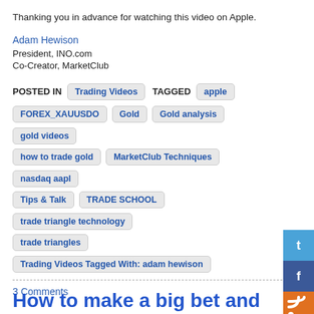Thanking you in advance for watching this video on Apple.
Adam Hewison
President, INO.com
Co-Creator, MarketClub
POSTED IN: Trading Videos  TAGGED: apple, FOREX_XAUUSDO, Gold, Gold analysis, gold videos, how to trade gold, MarketClub Techniques, nasdaq aapl, Tips & Talk, TRADE SCHOOL, trade triangle technology, trade triangles, Trading Videos Tagged With: adam hewison
3 Comments
How to make a big bet and